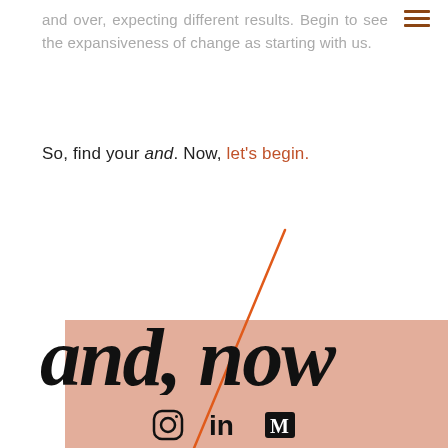and over, expecting different results. Begin to see the expansiveness of change as starting with us.
So, find your and. Now, let's begin.
[Figure (illustration): Large script text reading 'and, now' in bold black handwritten style, overlaid on a salmon/peach-colored rectangle, with a diagonal orange line crossing from lower-left to upper-right across the composition.]
Instagram, LinkedIn, Medium social icons